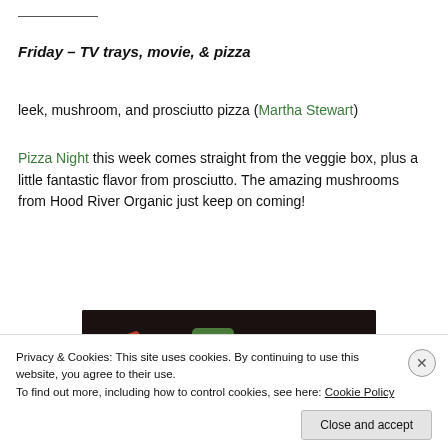Friday – TV trays, movie, & pizza
leek, mushroom, and prosciutto pizza (Martha Stewart)
Pizza Night this week comes straight from the veggie box, plus a little fantastic flavor from prosciutto. The amazing mushrooms from Hood River Organic just keep on coming!
[Figure (photo): Food preparation photo showing bowls of vegetables and ingredients including a can of Cento brand product, a green bowl with red peppers, and a bowl with mushrooms on a dark surface]
Privacy & Cookies: This site uses cookies. By continuing to use this website, you agree to their use.
To find out more, including how to control cookies, see here: Cookie Policy
Close and accept